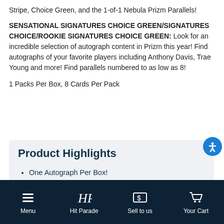Stripe, Choice Green, and the 1-of-1 Nebula Prizm Parallels!
SENSATIONAL SIGNATURES CHOICE GREEN/SIGNATURES CHOICE/ROOKIE SIGNATURES CHOICE GREEN: Look for an incredible selection of autograph content in Prizm this year! Find autographs of your favorite players including Anthony Davis, Trae Young and more! Find parallels numbered to as low as 8!
1 Packs Per Box, 8 Cards Per Pack
Product Highlights
One Autograph Per Box!
Two Silver Prizms Per Box!
Three Blue Yellow Green Prizms Per Box!
Two Other Prizms Per Box!
Menu | Hit Parade | Sell to us | Your Cart